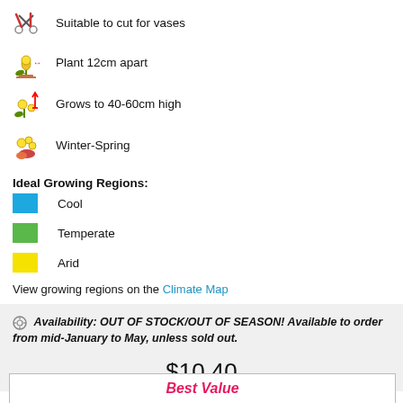Suitable to cut for vases
Plant 12cm apart
Grows to 40-60cm high
Winter-Spring
Ideal Growing Regions:
Cool
Temperate
Arid
View growing regions on the Climate Map
Availability: OUT OF STOCK/OUT OF SEASON! Available to order from mid-January to May, unless sold out.
$10.40
Best Value
Buy 2 or more and get them for $9.90 per item